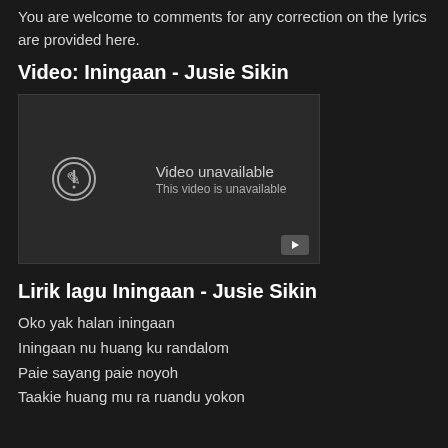You are welcome to comments for any correction on the lyrics are provided here.
Video: Iningaan - Jusie Sikin
[Figure (screenshot): Embedded video player showing 'Video unavailable - This video is unavailable' message with a circular exclamation icon and a YouTube play button in the bottom right corner.]
Lirik lagu Iningaan - Jusie Sikin
Oko yak halan iningaan
Iningaan nu huang ku randalom
Paie sayang paie noyoh
Taakie huang mu ra ruandu yokon